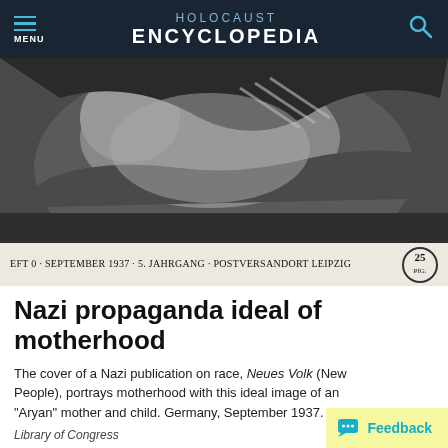HOLOCAUST ENCYCLOPEDIA
[Figure (photo): Black and white photograph used as cover of Nazi publication Neues Volk, September 1937. Shows a woman (mother) holding a child, depicting the Nazi ideal of Aryan motherhood. Caption strip at bottom reads: EFT 0 · SEPTEMBER 1937 · 5. JAHRGANG · POSTVERSANDORT LEIPZIG, with a 25 price stamp.]
Nazi propaganda ideal of motherhood
The cover of a Nazi publication on race, Neues Volk (New People), portrays motherhood with this ideal image of an "Aryan" mother and child. Germany, September 1937.
Library of Congress